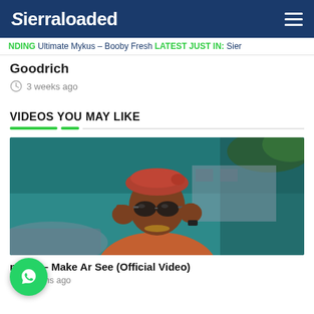Sierraloaded
NDING Ultimate Mykus – Booby Fresh LATEST JUST IN: Sier
Goodrich
3 weeks ago
VIDEOS YOU MAY LIKE
[Figure (photo): Man in red beret hat and sunglasses adjusting glasses, wearing orange/red outfit with gold chain, outdoor setting with teal wall background]
nrizzy – Make Ar See (Official Video)
months ago